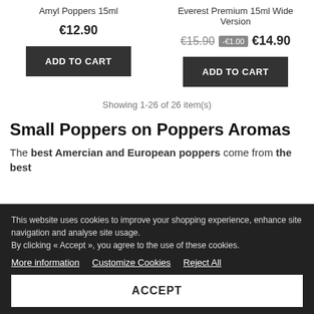Amyl Poppers 15ml
Everest Premium 15ml Wide Version
€12.90
€15.90 -€1.00 €14.90
ADD TO CART
ADD TO CART
Showing 1-26 of 26 item(s)
Small Poppers on Poppers Aromas
The best Amercian and European poppers come from the best
This website uses cookies to improve your shopping experience, enhance site navigation and analyse site usage.
By clicking « Accept », you agree to the use of these cookies.
More information  Customize Cookies  Reject All
ACCEPT